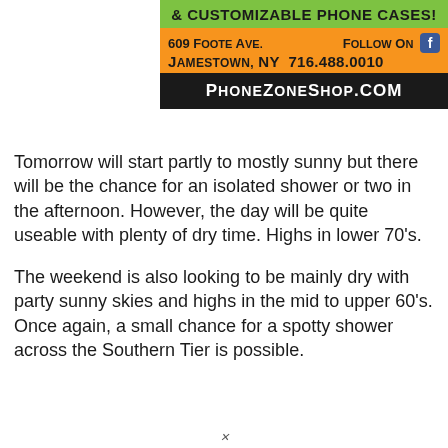[Figure (other): Advertisement for PhoneZoneShop.com with green, orange and black sections. Green section: '& CUSTOMIZABLE PHONE CASES!'. Orange section: '609 Foote Ave. Follow On [Facebook icon]' and 'Jamestown, NY 716.488.0010'. Black section: 'PhoneZoneShop.com']
Tomorrow will start partly to mostly sunny but there will be the chance for an isolated shower or two in the afternoon. However, the day will be quite useable with plenty of dry time. Highs in lower 70's.
The weekend is also looking to be mainly dry with party sunny skies and highs in the mid to upper 60's. Once again, a small chance for a spotty shower across the Southern Tier is possible.